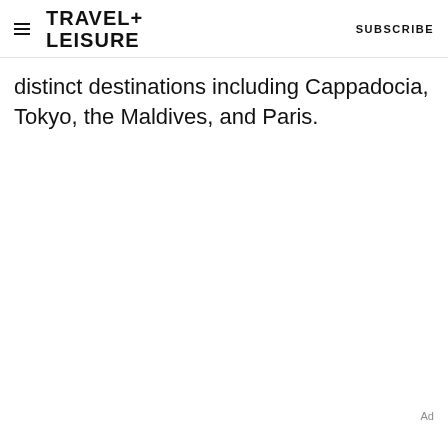TRAVEL+LEISURE  SUBSCRIBE
distinct destinations including Cappadocia, Tokyo, the Maldives, and Paris.
Ad